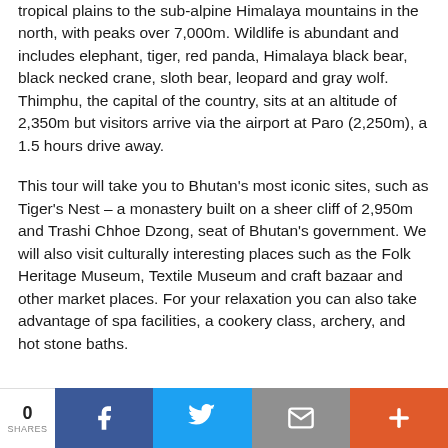tropical plains to the sub-alpine Himalaya mountains in the north, with peaks over 7,000m. Wildlife is abundant and includes elephant, tiger, red panda, Himalaya black bear, black necked crane, sloth bear, leopard and gray wolf. Thimphu, the capital of the country, sits at an altitude of 2,350m but visitors arrive via the airport at Paro (2,250m), a 1.5 hours drive away.
This tour will take you to Bhutan's most iconic sites, such as Tiger's Nest – a monastery built on a sheer cliff of 2,950m and Trashi Chhoe Dzong, seat of Bhutan's government. We will also visit culturally interesting places such as the Folk Heritage Museum, Textile Museum and craft bazaar and other market places. For your relaxation you can also take advantage of spa facilities, a cookery class, archery, and hot stone baths.
0 SHARES | Facebook | Twitter | Email | +